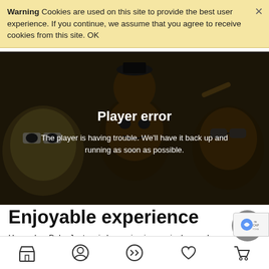Warning  Cookies are used on this site to provide the best user experience. If you continue, we assume that you agree to receive cookies from this site. OK
[Figure (screenshot): Video player showing cartoon characters in background with 'Player error' message overlay: 'The player is having trouble. We'll have it back up and running as soon as possible.']
Enjoyable experience
Honeydew Baby Jeeters is becoming increasingly popular among those who are looking for a new and exciting way to enjoy their mini rolls. This particular sativa strain can provide an excellent way to unwind after a long day or week without being too overwhelm